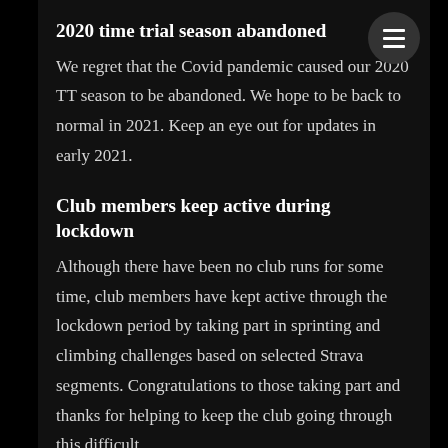2020 time trial season abandoned
We regret that the Covid pandemic caused our 2020 TT season to be abandoned. We hope to be back to normal in 2021. Keep an eye out for updates in early 2021.
Club members keep active during lockdown
Although there have been no club runs for some time, club members have kept active through the lockdown period by taking part in sprinting and climbing challenges based on selected Strava segments. Congratulations to those taking part and thanks for helping to keep the club going through this difficult